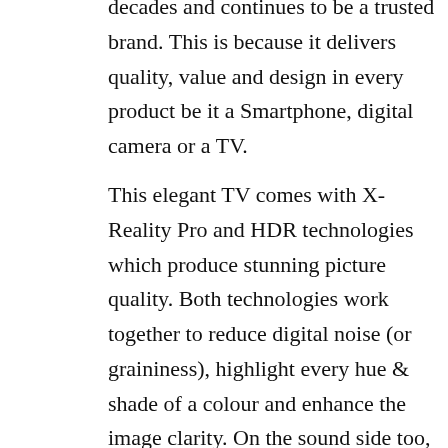decades and continues to be a trusted brand. This is because it delivers quality, value and design in every product be it a Smartphone, digital camera or a TV.
This elegant TV comes with X-Reality Pro and HDR technologies which produce stunning picture quality. Both technologies work together to reduce digital noise (or graininess), highlight every hue & shade of a colour and enhance the image clarity. On the sound side too, the ClearPhase+ fine-tunes the audio to give you a surround sound